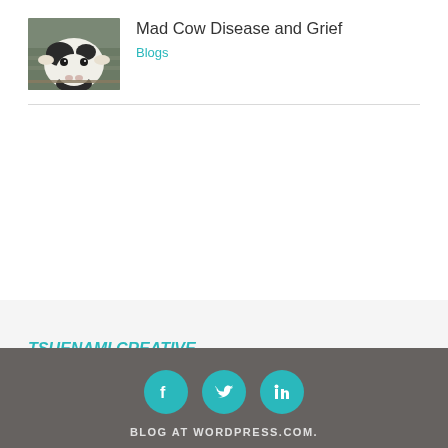[Figure (photo): Photo of a black and white dairy cow facing the camera, farm fence visible in background]
Mad Cow Disease and Grief
Blogs
TSUENAMI CREATIVE
USA & Europe
[Figure (infographic): Three teal circular social media icons: Facebook, Twitter, LinkedIn]
BLOG AT WORDPRESS.COM.